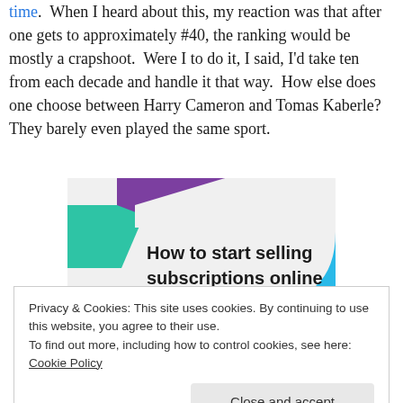time.  When I heard about this, my reaction was that after one gets to approximately #40, the ranking would be mostly a crapshoot.  Were I to do it, I said, I'd take ten from each decade and handle it that way.  How else does one choose between Harry Cameron and Tomas Kaberle?  They barely even played the same sport.
[Figure (infographic): Advertisement banner: 'How to start selling subscriptions online' with geometric shapes in teal, purple, and cyan on a light grey background.]
Privacy & Cookies: This site uses cookies. By continuing to use this website, you agree to their use.
To find out more, including how to control cookies, see here: Cookie Policy
[Close and accept button]